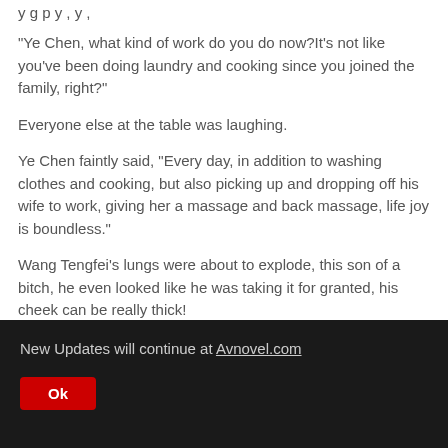"Ye Chen, what kind of work do you do now?It's not like you've been doing laundry and cooking since you joined the family, right?"
Everyone else at the table was laughing.
Ye Chen faintly said, "Every day, in addition to washing clothes and cooking, but also picking up and dropping off his wife to work, giving her a massage and back massage, life joy is boundless."
Wang Tengfei's lungs were about to explode, this son of a bitch, he even looked like he was taking it for granted, his cheek can be really thick!
New Updates will continue at Avnovel.com
Ok